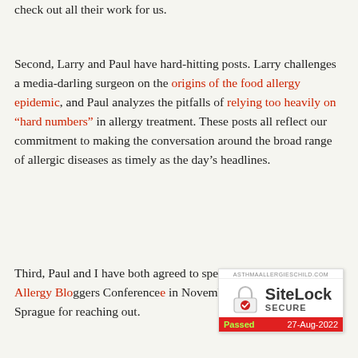check out all their work for us.
Second, Larry and Paul have hard-hitting posts. Larry challenges a media-darling surgeon on the origins of the food allergy epidemic, and Paul analyzes the pitfalls of relying too heavily on “hard numbers” in allergy treatment. These posts all reflect our commitment to making the conversation around the broad range of allergic diseases as timely as the day’s headlines.
Third, Paul and I have both agreed to speak at the first-ever Food Allergy Blo[ggers Conference] in November. Thanks to organ[izer] Sprague for reaching out.
[Figure (other): SiteLock SECURE badge from asthmaallergieschild.com, Passed 27-Aug-2022]